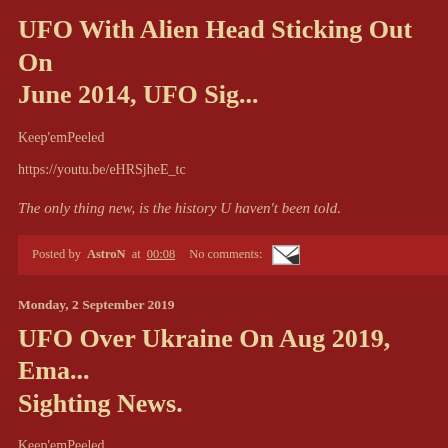UFO With Alien Head Sticking Out On June 2014, UFO Sig...
Keep'emPeeled
https://youtu.be/eHRSjheE_tc
The only thing new, is the history U haven't been told.
Posted by AstroN at 00:08   No comments:
Monday, 2 September 2019
UFO Over Ukraine On Aug 2019, Ema... Sighting News.
Keep'emPeeled
https://youtu.be/BcrbqaDv9Xc